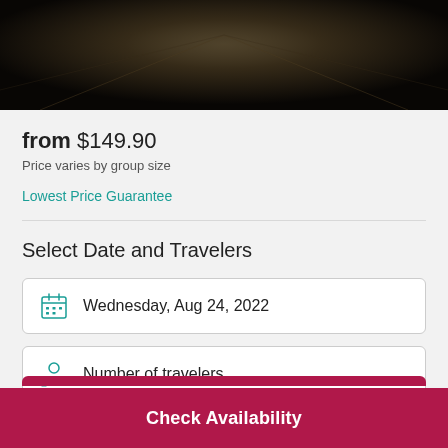[Figure (photo): Hero image of a dark brick or stone tunnel/corridor perspective]
from $149.90
Price varies by group size
Lowest Price Guarantee
Select Date and Travelers
Wednesday, Aug 24, 2022
Number of travelers
Check Availability